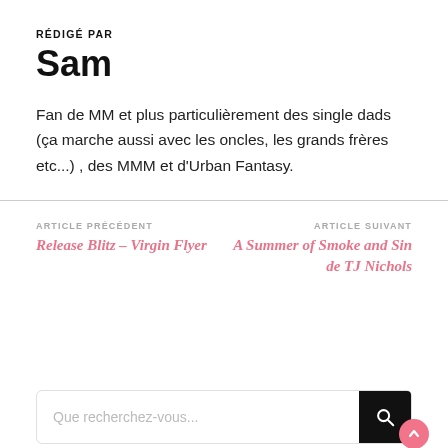RÉDIGÉ PAR
Sam
Fan de MM et plus particulièrement des single dads (ça marche aussi avec les oncles, les grands frères etc...) , des MMM et d'Urban Fantasy.
ARTICLE PRÉCÉDENT
Release Blitz – Virgin Flyer
ARTICLE SUIVANT
A Summer of Smoke and Sin de TJ Nichols
Que recherchez-vous...